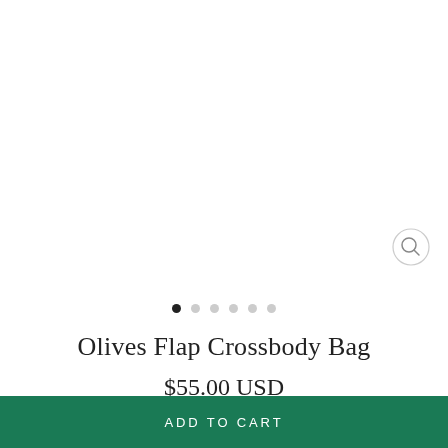[Figure (other): Product image carousel area (white/blank) with six navigation dots below; first dot is active/filled, rest are gray]
Olives Flap Crossbody Bag
$55.00 USD
COLOR  — White
[Figure (other): Three color swatches: olive green circle, white/cream circle (selected, with black border), tan/gold circle]
ADD TO CART